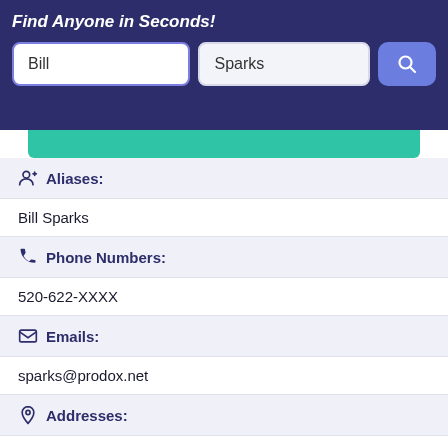Find Anyone in Seconds!
[Figure (screenshot): Search bar with first name 'Bill', last name 'Sparks', and a blue search button with magnifying glass icon]
Aliases:
Bill Sparks
Phone Numbers:
520-622-XXXX
Emails:
sparks@prodox.net
Addresses:
None found.
Record Overview:
There are 1 Addresses for this record. 1 phone